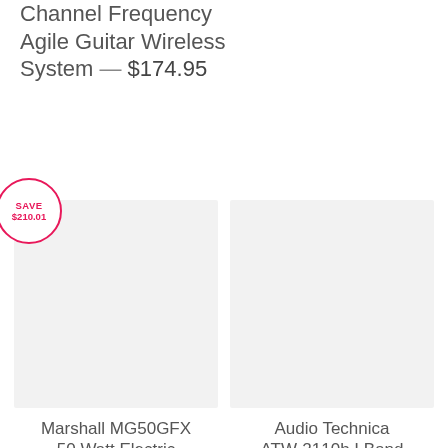Channel Frequency Agile Guitar Wireless System — $174.95
[Figure (photo): Product image placeholder (light gray rectangle) for Marshall MG50GFX 50 Watt Electric, with a SAVE $210.01 badge in pink/red circle overlay at top-left]
Marshall MG50GFX 50 Watt Electric
[Figure (photo): Product image placeholder (light gray rectangle) for Audio Technica ATW-2110b I Band]
Audio Technica ATW-2110b I Band